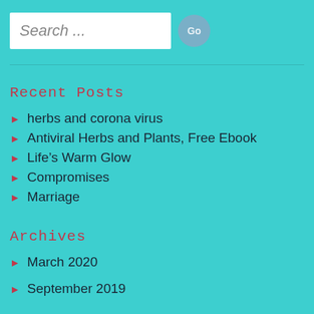Search ...
Recent Posts
herbs and corona virus
Antiviral Herbs and Plants, Free Ebook
Life's Warm Glow
Compromises
Marriage
Archives
March 2020
September 2019